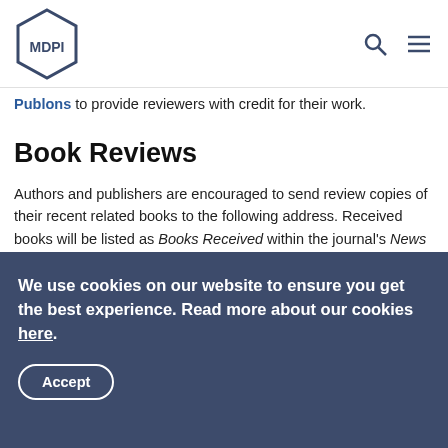MDPI
Publons to provide reviewers with credit for their work.
Book Reviews
Authors and publishers are encouraged to send review copies of their recent related books to the following address. Received books will be listed as Books Received within the journal's News & Announcements section.
MDPI
St. Alban-Anlage 66
CH-4052 Basel
We use cookies on our website to ensure you get the best experience. Read more about our cookies here.
Accept